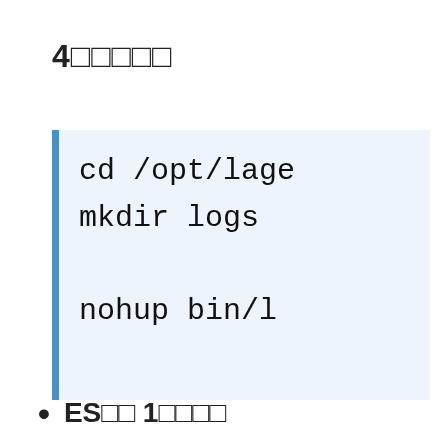4
cd /opt/lage
mkdir logs

nohup bin/l
ES　 1